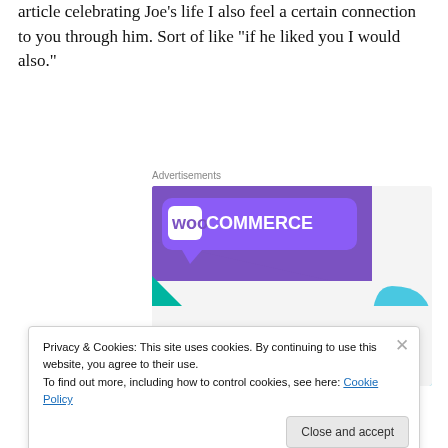article celebrating Joe's life I also feel a certain connection to you through him. Sort of like “if he liked you I would also.”
Advertisements
[Figure (screenshot): WooCommerce advertisement banner with purple header, teal triangle, light blue arc, and text 'How to start selling subscriptions online']
Privacy & Cookies: This site uses cookies. By continuing to use this website, you agree to their use.
To find out more, including how to control cookies, see here: Cookie Policy
Close and accept